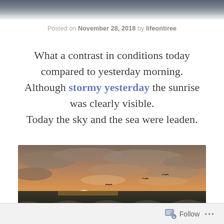[Figure (photo): Top banner showing stormy ocean waves and grey sky, partially visible]
Posted on November 28, 2018 by lifeontiree
What a contrast in conditions today compared to yesterday morning. Although stormy yesterday the sunrise was clearly visible. Today the sky and the sea were leaden.
[Figure (photo): Photograph of a sunrise over a stormy ocean with dramatic clouds, golden light on the horizon, and seabirds in flight]
Follow ...